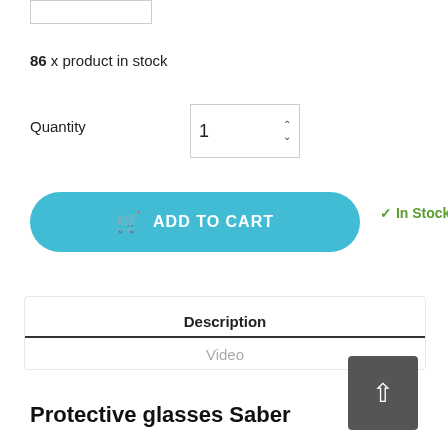[Figure (screenshot): Top image placeholder box (partial, cropped at top)]
86 x product in stock
Quantity
[Figure (screenshot): Quantity input spinner showing value 1 with up/down arrows]
[Figure (screenshot): ADD TO CART button in teal/cyan rounded rectangle with cart icon]
✓ In Stock
Description
Video
Protective glasses Saber